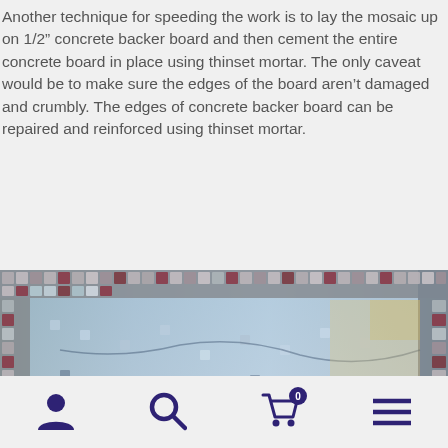Another technique for speeding the work is to lay the mosaic up on 1/2" concrete backer board and then cement the entire concrete board in place using thinset mortar. The only caveat would be to make sure the edges of the board aren't damaged and crumbly. The edges of concrete backer board can be repaired and reinforced using thinset mortar.
[Figure (photo): Close-up photograph of a mosaic artwork laid on concrete backer board, showing small tiles in gray, blue, white, and dark red/maroon colors arranged in a decorative pattern with a border.]
Navigation bar with user icon, search icon, cart icon (0 items), and menu icon